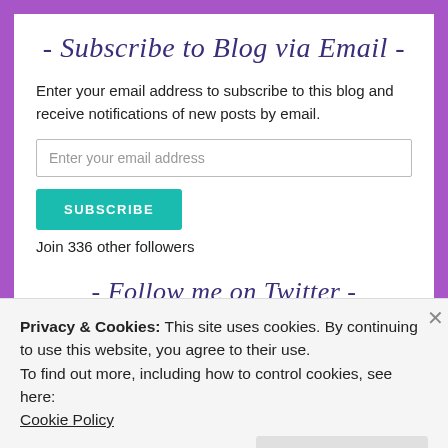- Subscribe to Blog via Email -
Enter your email address to subscribe to this blog and receive notifications of new posts by email.
Enter your email address
SUBSCRIBE
Join 336 other followers
- Follow me on Twitter -
Privacy & Cookies: This site uses cookies. By continuing to use this website, you agree to their use.
To find out more, including how to control cookies, see here:
Cookie Policy
Close and accept